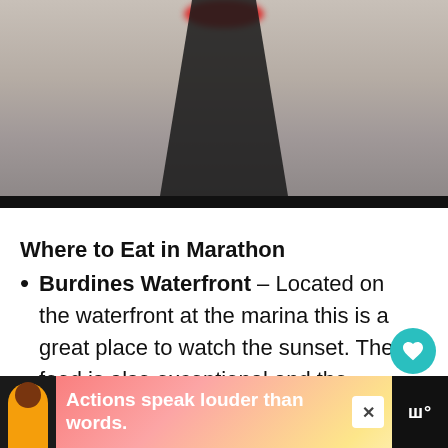[Figure (photo): A person wearing a black top and necklace, photographed indoors. A red blurred oval appears at the top center of the image. A black bar runs along the bottom of the image.]
Where to Eat in Marathon
Burdines Waterfront – Located on the waterfront at the marina this is a great place to watch the sunset.  The food is also exceptional and the atmosphere isn't bad either.
[Figure (infographic): Advertisement banner at the bottom of the page. Shows a person in a yellow top with the text 'Actions speak louder than words.' in white bold text on a colorful gradient background. Has a close (X) button and a logo on the right side.]